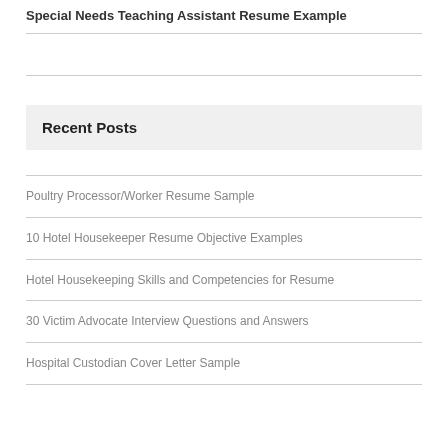Special Needs Teaching Assistant Resume Example
Recent Posts
Poultry Processor/Worker Resume Sample
10 Hotel Housekeeper Resume Objective Examples
Hotel Housekeeping Skills and Competencies for Resume
30 Victim Advocate Interview Questions and Answers
Hospital Custodian Cover Letter Sample